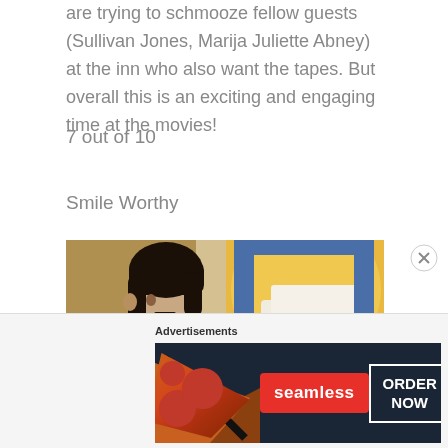are trying to schmooze fellow guests (Sullivan Jones, Marija Juliette Abney) at the inn who also want the tapes. But overall this is an exciting and engaging time at the movies!
7 out of 10
Smile Worthy
[Figure (photo): A man with dark hair in a white turtleneck sweater looks over his shoulder inside a church with arched ceilings, a cross, golden altar, and stained glass windows.]
Advertisements
[Figure (photo): Seamless food delivery advertisement banner with pizza image on dark background, red Seamless button, and white outlined ORDER NOW button.]